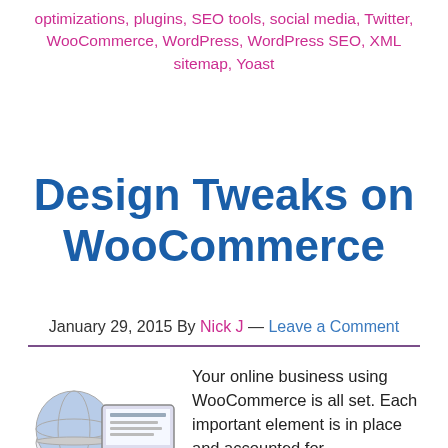optimizations, plugins, SEO tools, social media, Twitter, WooCommerce, WordPress, WordPress SEO, XML sitemap, Yoast
Design Tweaks on WooCommerce
January 29, 2015 By Nick J — Leave a Comment
[Figure (illustration): Globe with a computer monitor showing web design, representing an online business website]
Your online business using WooCommerce is all set. Each important element is in place and accounted for